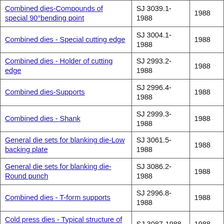|  |  |  |
| --- | --- | --- |
| Combined dies-Compounds of special 90°bending point | SJ 3039.1-1988 | 1988 |
| Combined dies - Special cutting edge | SJ 3004.1-1988 | 1988 |
| Combined dies - Holder of cutting edge | SJ 2993.2-1988 | 1988 |
| Combined dies-Supports | SJ 2996.4-1988 | 1988 |
| Combined dies - Shank | SJ 2999.3-1988 | 1988 |
| General die sets for blanking die-Low backing plate | SJ 3061.5-1988 | 1988 |
| General die sets for blanking die-Round punch | SJ 3086.2-1988 | 1988 |
| Combined dies - T-form supports | SJ 2996.8-1988 | 1988 |
| Cold press dies - Typical structure of longitudinal feeding with fixed stripper | SJ 3087-1988 | 1988 |
| Combined dies - Holder of round cutting edge | SJ 2994.2-1988 | 1988 |
| Combined dies - ... | SJ 3001.2- |  |